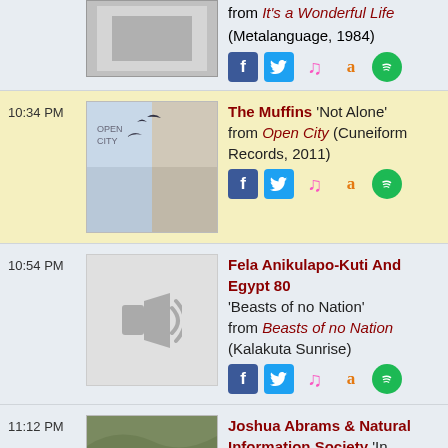from It's a Wonderful Life (Metalanguage, 1984)
10:34 PM — The Muffins 'Not Alone' from Open City (Cuneiform Records, 2011)
10:54 PM — Fela Anikulapo-Kuti And Egypt 80 'Beasts of no Nation' from Beasts of no Nation (Kalakuta Sunrise)
11:12 PM — Joshua Abrams & Natural Information Society 'In Memory's Prism' from Mandatory Reality (Eremite Records, 2019)